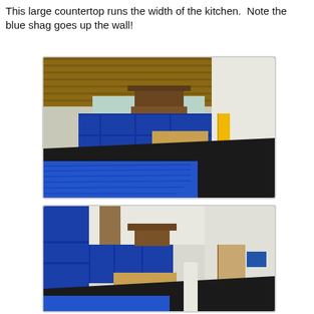This large countertop runs the width of the kitchen.  Note the blue shag goes up the wall!
[Figure (photo): Interior kitchen photo showing a large dark countertop running the width of the space, blue cabinet fronts, wood ceiling, overhead range hood, and bright blue shag carpet on the floor going up the wall.]
[Figure (photo): Second interior kitchen photo from a different angle showing the same blue cabinets, dark countertop, wood ceiling beams, overhead range hood, and blue shag carpet floor.]